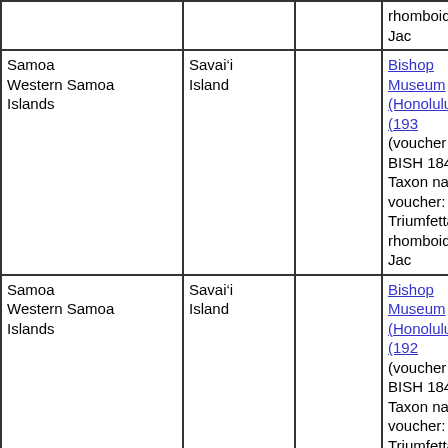| Location | Island |  | Voucher |
| --- | --- | --- | --- |
|  |  |  | rhomboidea Jac |
| Samoa
Western Samoa Islands | Savai‘i Island |  | Bishop Museum (Honolulu) (1930s) (voucher ID: BISH 184908) Taxon name on voucher: Triumfetta rhomboidea Jac |
| Samoa
Western Samoa Islands | Savai‘i Island |  | Bishop Museum (Honolulu) (192...) (voucher ID: BISH 184909) Taxon name on voucher: Triumfetta rhomboidea Jac |
| Samoa
Western Samoa Islands | Savai‘i Island |  | Bishop Museum (Honolulu) (197...) (voucher ID: BISH 416361) Taxon name on voucher: Triumfetta |